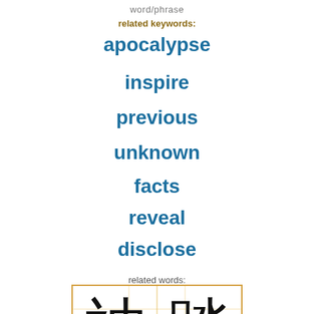word/phrase
related keywords:
apocalypse
inspire
previous
unknown
facts
reveal
disclose
related words:
[Figure (illustration): Chinese characters in a grid with orange guide lines]